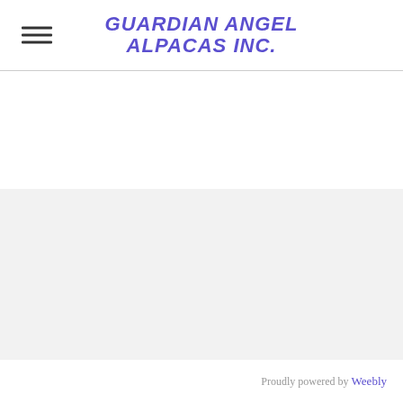GUARDIAN ANGEL ALPACAS INC.
Proudly powered by Weebly